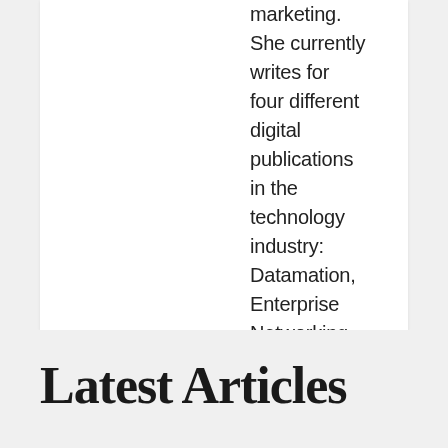marketing. She currently writes for four different digital publications in the technology industry: Datamation, Enterprise Networking Planet, CIO Insight, and Webopedia. When she's not writing, Shelby loves finding group trivia events with friends, cross stitching decorations for her home, reading too many novels, and turning her puppy into a social media influencer.
Latest Articles